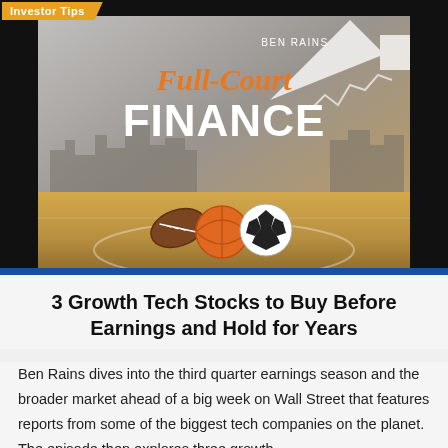Investor Tips
[Figure (photo): Book cover for 'Full-Court Finance' by Ben Rains, featuring sports balls (football, basketball, soccer ball) on a basketball court floor with a city skyline background and a white upward arrow, suggesting financial growth.]
3 Growth Tech Stocks to Buy Before Earnings and Hold for Years
Ben Rains dives into the third quarter earnings season and the broader market ahead of a big week on Wall Street that features reports from some of the biggest tech companies on the planet. The episode then explores three growth-